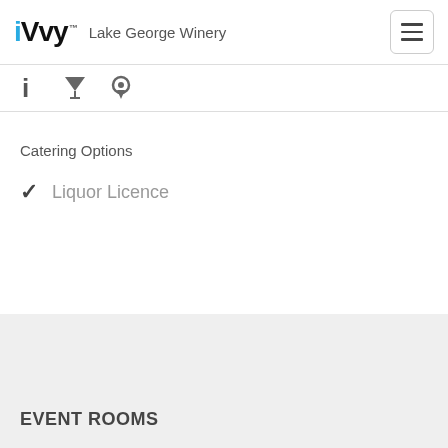iVvy  Lake George Winery
[Figure (other): Navigation icon bar with info (i), filter/cocktail glass, and map pin icons]
Catering Options
✓ Liquor Licence
EVENT ROOMS